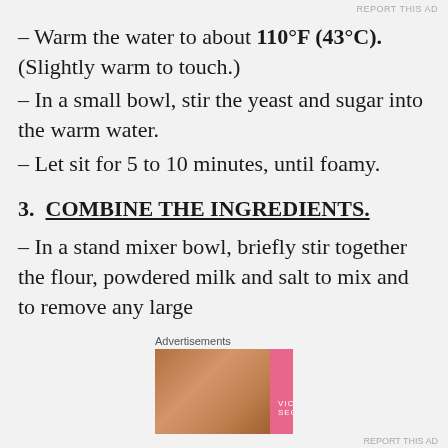– Warm the water to about 110°F (43°C). (Slightly warm to touch.)
– In a small bowl, stir the yeast and sugar into the warm water.
– Let sit for 5 to 10 minutes, until foamy.
3.  COMBINE THE INGREDIENTS.
– In a stand mixer bowl, briefly stir together the flour, powdered milk and salt to mix and to remove any large
[Figure (advertisement): Victoria's Secret advertisement banner with model photo, VS logo, 'SHOP THE COLLECTION' text, and 'SHOP NOW' button]